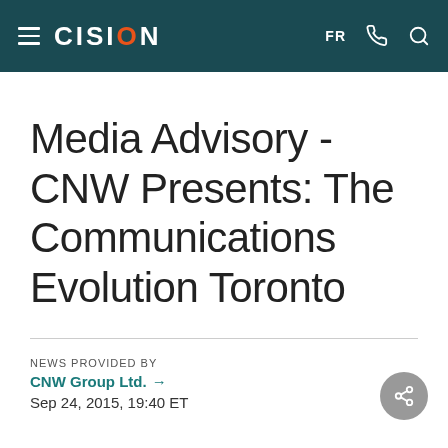CISION — FR
Media Advisory - CNW Presents: The Communications Evolution Toronto
NEWS PROVIDED BY
CNW Group Ltd. →
Sep 24, 2015, 19:40 ET